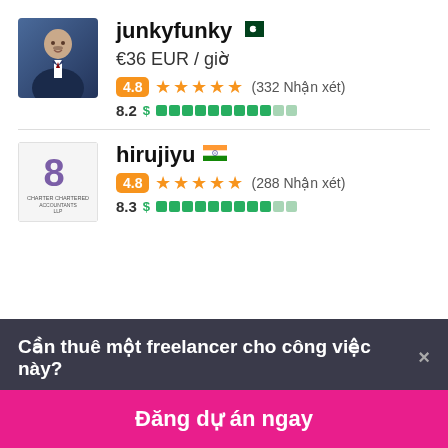[Figure (photo): Profile photo of junkyfunky, man in suit]
junkyfunky 🇵🇰
€36 EUR / giờ
4.8 ★★★★★ (332 Nhận xét)
8.2 $ ▓▓▓▓▓▓▓▓▓░░
[Figure (logo): hirujiyu company logo with number 8]
hirujiyu 🇮🇳
4.8 ★★★★★ (288 Nhận xét)
8.3 $ ▓▓▓▓▓▓▓▓▓░░
Cần thuê một freelancer cho công việc này? ×
Đăng dự án ngay